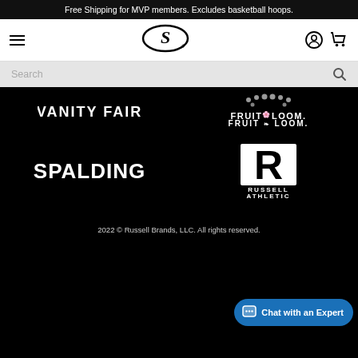Free Shipping for MVP members. Excludes basketball hoops.
[Figure (logo): Spalding S logo in oval in the navigation bar]
[Figure (screenshot): Search bar with magnifying glass icon]
[Figure (logo): VANITY FAIR logo (partially visible, white text on black background)]
[Figure (logo): FRUIT OF THE LOOM logo (white text and decorative fruit icon on black background)]
[Figure (logo): SPALDING logo in white on black background]
[Figure (logo): RUSSELL ATHLETIC logo with R block letter mark in white on black background]
2022 © Russell Brands, LLC. All rights reserved.